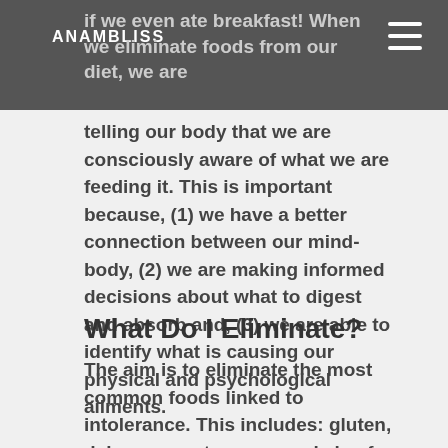ANAMBLISS
if we even ate breakfast! When we eliminate foods from our diet, we are telling our body that we are consciously aware of what we are feeding it. This is important because, (1) we have a better connection between our mind-body, (2) we are making informed decisions about what to digest and absorb and, (3) we are able to identify what is causing our physical and psychological ailments.
What Do I Eliminate?
The aim is to eliminate the most common foods linked to intolerance. This includes: gluten, dairy, soy, nuts, corn, pork, beef, chicken, citrus fruits, nightshade